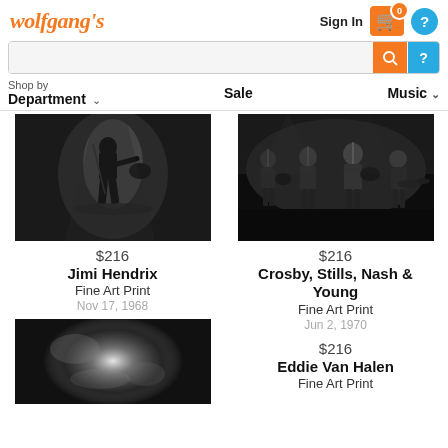[Figure (logo): Wolfgang's logo in orange italic script]
Sign In
[Figure (infographic): Orange shopping cart icon with 0 badge and blue help button]
[Figure (infographic): Search bar with orange search button]
Shop by Department ∨   Sale   Music ∨
[Figure (photo): Black and white photo of Jimi Hendrix performing on stage, silhouetted figure with guitar]
$216
Jimi Hendrix
Fine Art Print
Nov 17, 1968
[Figure (photo): Black and white photo of Crosby, Stills, Nash & Young performing on stage, multiple musicians]
$216
Crosby, Stills, Nash & Young
Fine Art Print
Jun 2, 1970
[Figure (photo): Black and white photo, smoky atmospheric concert photo]
$216
Eddie Van Halen
Fine Art Print